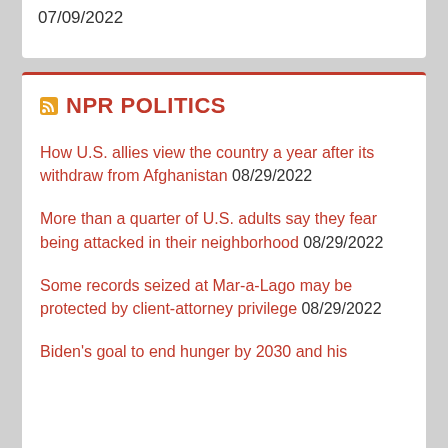07/09/2022
NPR POLITICS
How U.S. allies view the country a year after its withdraw from Afghanistan 08/29/2022
More than a quarter of U.S. adults say they fear being attacked in their neighborhood 08/29/2022
Some records seized at Mar-a-Lago may be protected by client-attorney privilege 08/29/2022
Biden's goal to end hunger by 2030 and his pay for plan face scrutiny 08/29/2022